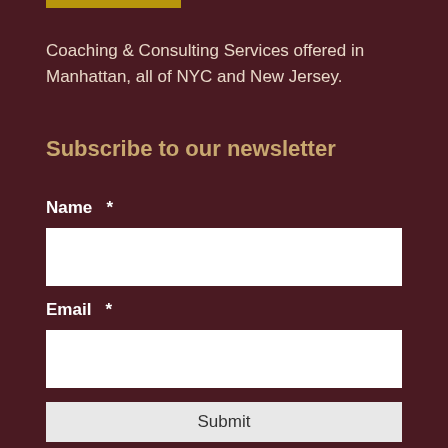[Figure (other): Gold/amber colored horizontal bar at top]
Coaching & Consulting Services offered in Manhattan, all of NYC and New Jersey.
Subscribe to our newsletter
Name *
Email *
Submit